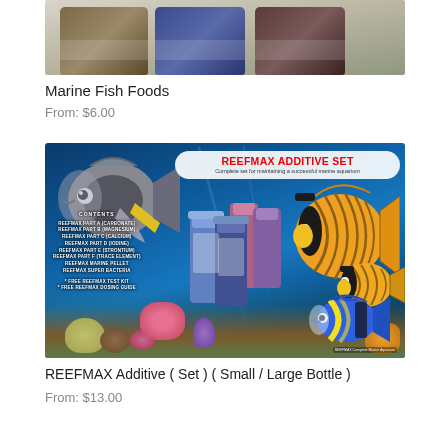[Figure (photo): Three jars/containers of Marine Fish Foods product photographed from above on a light background]
Marine Fish Foods
From: $6.00
[Figure (photo): REEFMAX Additive Set product promotional image showing colorful tropical fish (angelfish, butterflyfish), coral reef, product bottles, with text listing contents: REEFMAX Part A (Carbonate), Part B (Magnesium), Part C (Calcium), Part D (Iodine), Part E (Strontium), Part F (Trace Element), REEFMAX Marine Pellet, REEFMAX Super Bacteria, Free REEFMAX Test Kit, Free REEFMAX Dosing Guide]
REEFMAX Additive ( Set ) ( Small / Large Bottle )
From: $13.00